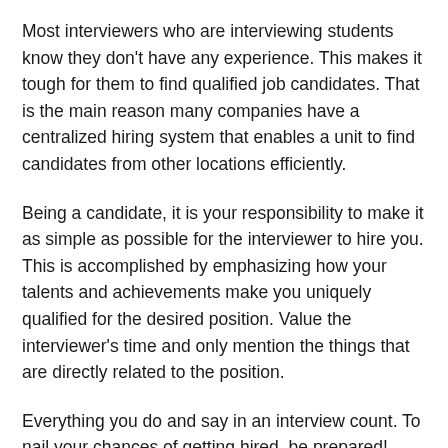Most interviewers who are interviewing students know they don't have any experience. This makes it tough for them to find qualified job candidates. That is the main reason many companies have a centralized hiring system that enables a unit to find candidates from other locations efficiently.
Being a candidate, it is your responsibility to make it as simple as possible for the interviewer to hire you. This is accomplished by emphasizing how your talents and achievements make you uniquely qualified for the desired position. Value the interviewer's time and only mention the things that are directly related to the position.
Everything you do and say in an interview count. To nail your chances of getting hired, be prepared!